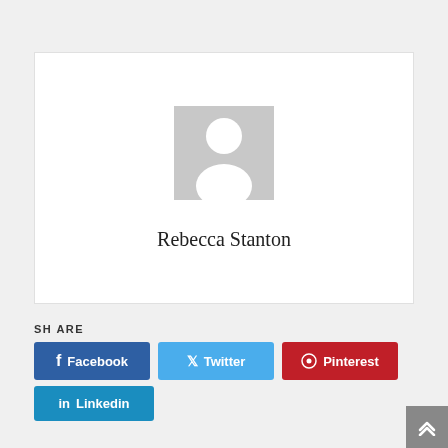[Figure (illustration): Generic profile placeholder image with gray background showing a white silhouette of a person (head and shoulders)]
Rebecca Stanton
SHARE
[Figure (infographic): Social sharing buttons: Facebook (dark blue), Twitter (light blue), Pinterest (red), Linkedin (blue)]